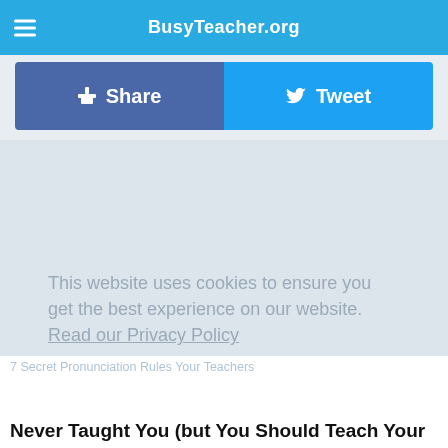BusyTeacher.org
f Share   Tweet
This website uses cookies to ensure you get the best experience on our website. Read our Privacy Policy
Accept!
7 Secret Pronunciation Rules Your Teachers Never Taught You (but You Should Teach Your